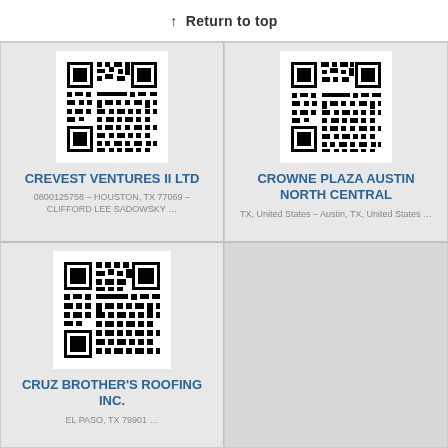↑ Return to top
[Figure (other): QR code for CREVEST VENTURES II LTD]
CREVEST VENTURES II LTD
0800125758 – HOUSTON, TX 77069 – CLIFFORD LEE SADOWSKY …
[Figure (other): QR code for CROWNE PLAZA AUSTIN NORTH CENTRAL]
CROWNE PLAZA AUSTIN NORTH CENTRAL
TX, United States – Austin, TX, United States …
[Figure (other): QR code for CRUZ BROTHER'S ROOFING INC.]
CRUZ BROTHER'S ROOFING INC.
EL PASO, TX 79901 …